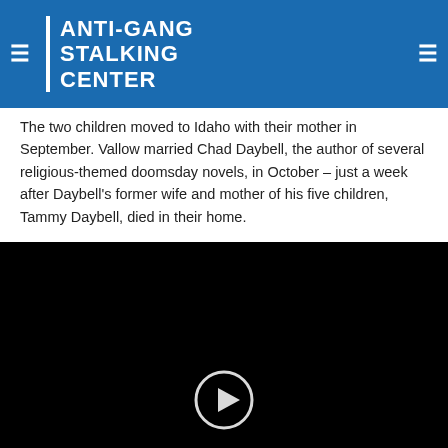ANTI-GANG STALKING CENTER
The two children moved to Idaho with their mother in September. Vallow married Chad Daybell, the author of several religious-themed doomsday novels, in October – just a week after Daybell's former wife and mother of his five children, Tammy Daybell, died in their home.
Lori's former and fourth husband, Charles Vallow, died in July. Her brother, Alex Cox, shot and killed him in Arizona and claimed self-defense. He was never arrested and then died unexpectedly in December. Tammy Daybell and Cox' deaths both remain under investigation, but no test results have been released.
[Figure (other): Black video player area with play button icon at bottom]